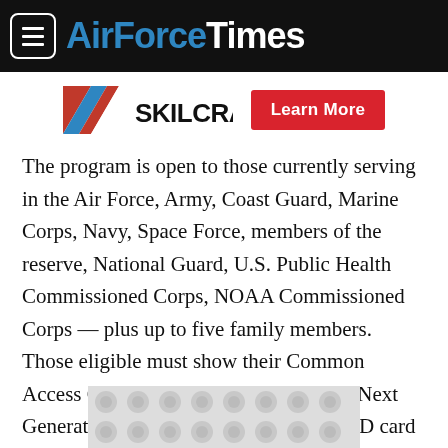AirForceTimes
[Figure (logo): SKILCRAFT logo with diagonal striped flag icon in red, white and blue, followed by 'Learn More' red button]
The program is open to those currently serving in the Air Force, Army, Coast Guard, Marine Corps, Navy, Space Force, members of the reserve, National Guard, U.S. Public Health Commissioned Corps, NOAA Commissioned Corps — plus up to five family members. Those eligible must show their Common Access Card, dependent ID card, or the Next Generation Uniformed Services (Real) ID card for free entrance into participating museums.
[Figure (other): Advertisement placeholder banner at bottom of page]